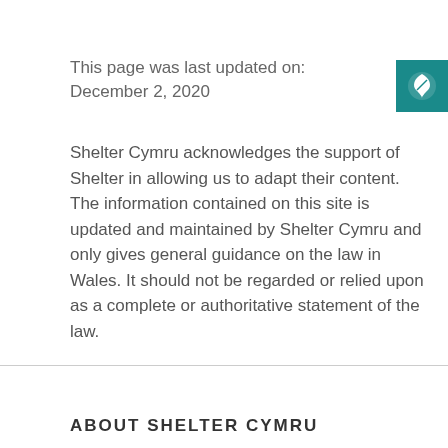This page was last updated on: December 2, 2020
Shelter Cymru acknowledges the support of Shelter in allowing us to adapt their content. The information contained on this site is updated and maintained by Shelter Cymru and only gives general guidance on the law in Wales. It should not be regarded or relied upon as a complete or authoritative statement of the law.
[Figure (logo): Shelter Cymru teal logo badge with white leaf/arrow icon]
ABOUT SHELTER CYMRU